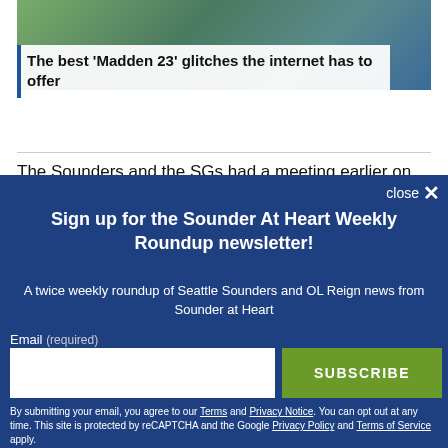[Figure (photo): Partial view of a sports-related image behind an article headline card]
The best ‘Madden 23’ glitches the internet has to offer
The Sounders and the SGs had a meeting earlier on
close ×
Sign up for the Sounder At Heart Weekly Roundup newsletter!
A twice weekly roundup of Seattle Sounders and OL Reign news from Sounder at Heart
Email (required)
SUBSCRIBE
By submitting your email, you agree to our Terms and Privacy Notice. You can opt out at any time. This site is protected by reCAPTCHA and the Google Privacy Policy and Terms of Service apply.